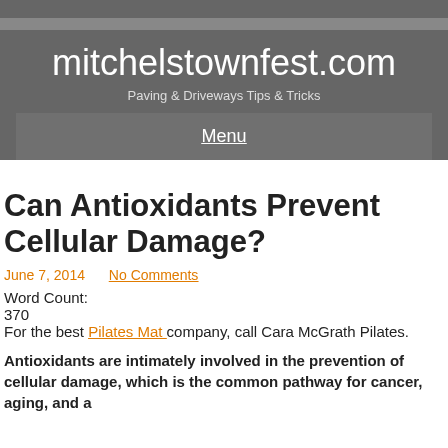mitchelstownfest.com
Paving & Driveways Tips & Tricks
Menu
Can Antioxidants Prevent Cellular Damage?
June 7, 2014   No Comments
Word Count:
370
For the best Pilates Mat company, call Cara McGrath Pilates.
Antioxidants are intimately involved in the prevention of cellular damage, which is the common pathway for cancer, aging, and a